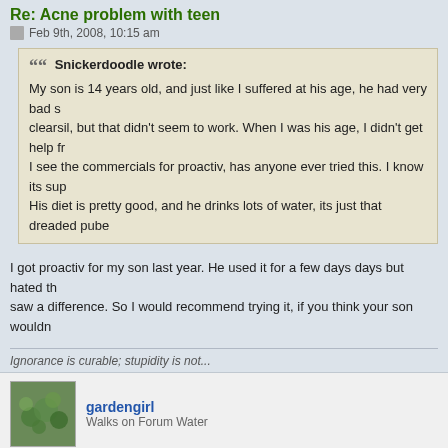Re: Acne problem with teen
Feb 9th, 2008, 10:15 am
Snickerdoodle wrote: My son is 14 years old, and just like I suffered at his age, he had very bad s... clearsil, but that didn't seem to work. When I was his age, I didn't get help fr... I see the commercials for proactiv, has anyone ever tried this. I know its sup... His diet is pretty good, and he drinks lots of water, its just that dreaded pube...
I got proactiv for my son last year. He used it for a few days days but hated th... saw a difference. So I would recommend trying it, if you think your son wouldn...
Ignorance is curable; stupidity is not...
gardengirl
Walks on Forum Water
Feb 9th, 2008, 10:25 am
peteykat wrote: I'd suggest talking him to the doctor who in turn may send him to a dermatol...